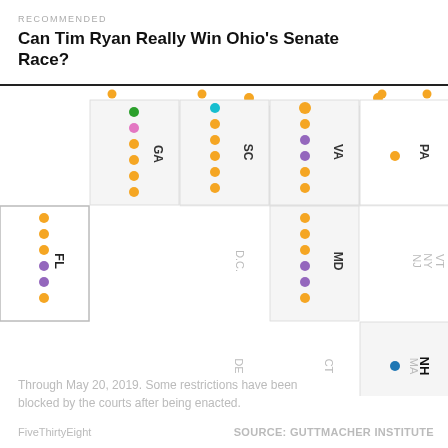RECOMMENDED
Can Tim Ryan Really Win Ohio’s Senate Race?
[Figure (infographic): Partial view of a tile grid map of US states showing abortion restriction dots by category. Visible states include GA, SC, VA, PA, FL, D.C., MD, NJ, NY, VT, DE, CT, MA, NH, RI, ME. Each state cell contains colored dots representing different types of abortion restrictions (orange, purple, teal/blue, green, pink). States with more restrictions have more dots.]
Through May 20, 2019. Some restrictions have been blocked by the courts after being enacted.
FiveThirtyEight
SOURCE: GUTTMACHER INSTITUTE